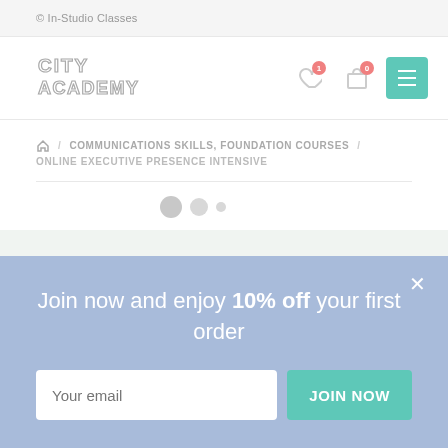© In-Studio Classes
[Figure (logo): City Academy logo in outline/geometric style text]
Breadcrumb navigation: Home / COMMUNICATIONS SKILLS, FOUNDATION COURSES / ONLINE EXECUTIVE PRESENCE INTENSIVE
Join now and enjoy 10% off your first order
Your email [input field] JOIN NOW [button]